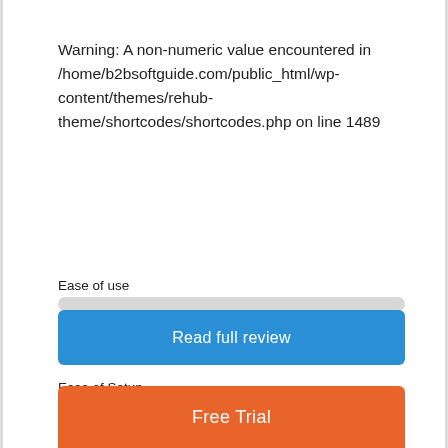Warning: A non-numeric value encountered in /home/b2bsoftguide.com/public_html/wp-content/themes/rehub-theme/shortcodes/shortcodes.php on line 1489
Ease of use
Support
Ease of Setup
Read full review
Free Trial